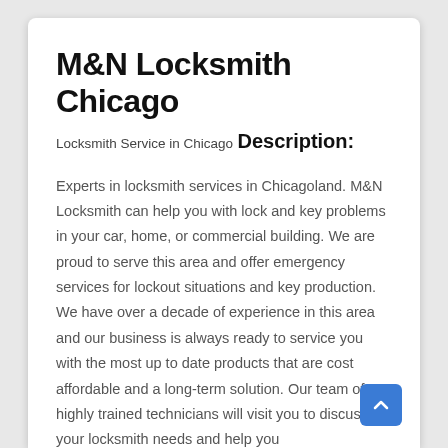M&N Locksmith Chicago
Locksmith Service in Chicago
Description:
Experts in locksmith services in Chicagoland. M&N Locksmith can help you with lock and key problems in your car, home, or commercial building. We are proud to serve this area and offer emergency services for lockout situations and key production. We have over a decade of experience in this area and our business is always ready to service you with the most up to date products that are cost affordable and a long-term solution. Our team of highly trained technicians will visit you to discuss your locksmith needs and help you